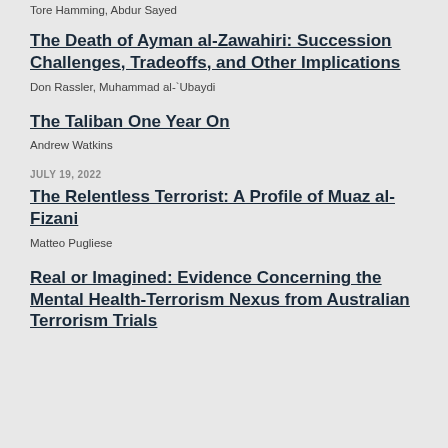Tore Hamming, Abdur Sayed
The Death of Ayman al-Zawahiri: Succession Challenges, Tradeoffs, and Other Implications
Don Rassler, Muhammad al-`Ubaydi
The Taliban One Year On
Andrew Watkins
JULY 19, 2022
The Relentless Terrorist: A Profile of Muaz al-Fizani
Matteo Pugliese
Real or Imagined: Evidence Concerning the Mental Health-Terrorism Nexus from Australian Terrorism Trials